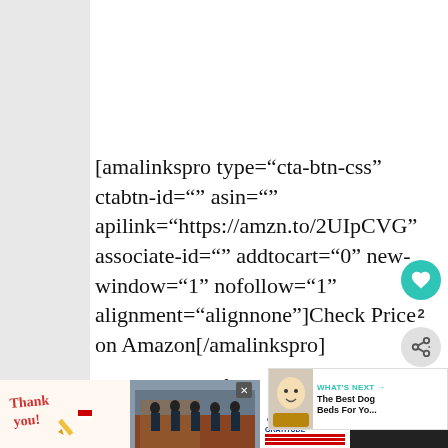[amalinkspro type="cta-btn-css" ctabtn-id="" asin="" apilink="https://amzn.to/2UIpCVG" associate-id="" addtocart="0" new-window="1" nofollow="1" alignment="alignnone"]Check Price on Amazon[/amalinkspro]
The strategy of the manufacturers a... to be to limit the number of ingredients so as
[Figure (screenshot): Social sidebar with heart/like button showing count of 2 and a share button]
[Figure (screenshot): What's Next widget showing 'The Best Dog Beds For Yo...' with baby image thumbnail]
[Figure (photo): Bottom advertisement bar showing 'Thank you!' with firefighters image and Operation Gratitude logo]